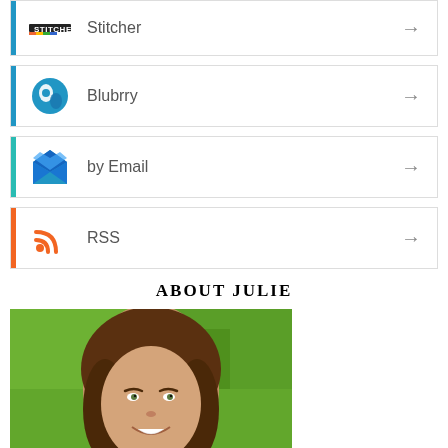Stitcher
Blubrry
by Email
RSS
ABOUT JULIE
[Figure (photo): Portrait photo of Julie, a woman with curly brown hair smiling, taken outdoors with green background]